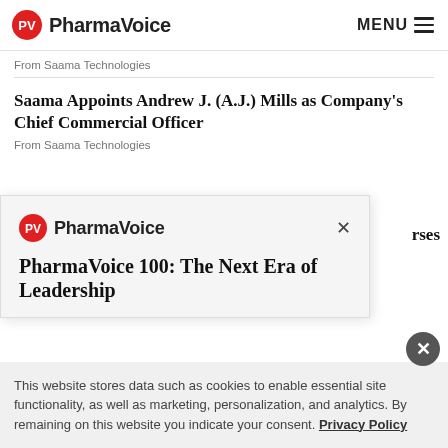PharmaVoice | MENU
From Saama Technologies
Saama Appoints Andrew J. (A.J.) Mills as Company's Chief Commercial Officer
From Saama Technologies
[Figure (logo): PharmaVoice logo in modal dialog]
PharmaVoice 100: The Next Era of Leadership
This website stores data such as cookies to enable essential site functionality, as well as marketing, personalization, and analytics. By remaining on this website you indicate your consent. Privacy Policy